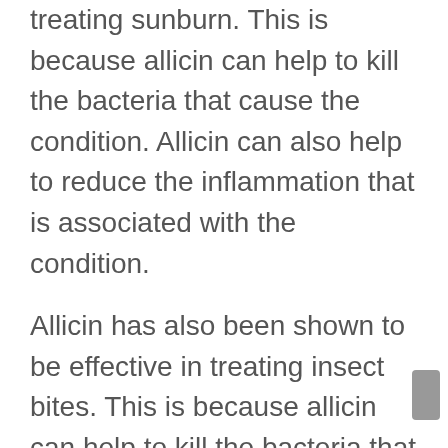treating sunburn. This is because allicin can help to kill the bacteria that cause the condition. Allicin can also help to reduce the inflammation that is associated with the condition.
Allicin has also been shown to be effective in treating insect bites. This is because allicin can help to kill the bacteria that cause the condition. Allicin can also help to reduce the inflammation that is associated with the condition.
Allicin has also been shown to be effective in treating hives. This is because allicin can help to kill the bacteria that cause the condition. Allicin can also help to reduce the inflammation that is